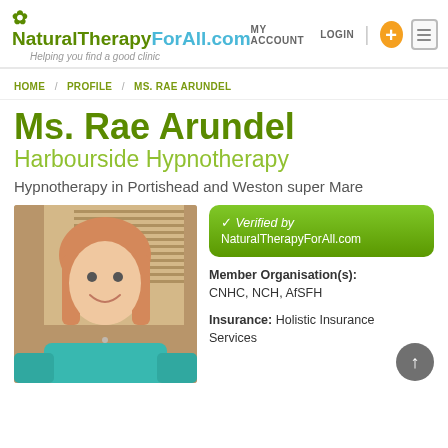NaturalTherapyForAll.com – Helping you find a good clinic
MY ACCOUNT  LOGIN
HOME / PROFILE / MS. RAE ARUNDEL
Ms. Rae Arundel
Harbourside Hypnotherapy
Hypnotherapy in Portishead and Weston super Mare
[Figure (photo): Portrait photo of Ms. Rae Arundel, a woman with shoulder-length reddish-blonde hair wearing a teal top, smiling, with venetian blinds visible in the background]
✓ Verified by NaturalTherapyForAll.com
Member Organisation(s): CNHC, NCH, AfSFH
Insurance: Holistic Insurance Services